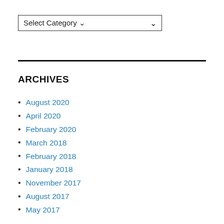Select Category
ARCHIVES
August 2020
April 2020
February 2020
March 2018
February 2018
January 2018
November 2017
August 2017
May 2017